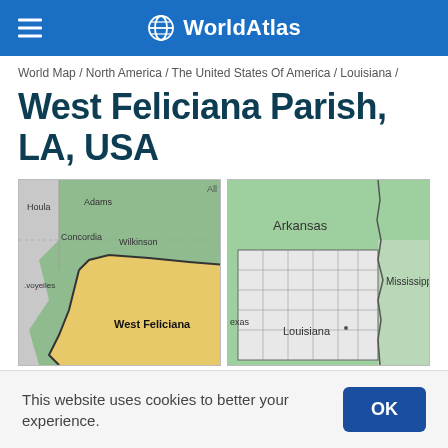WorldAtlas
World Map / North America / The United States Of America / Louisiana /
West Feliciana Parish, LA, USA
[Figure (map): Close-up map of West Feliciana Parish in Louisiana, showing the parish highlighted in yellow/gold among neighboring parishes including Adams, Wilkinson, Concordia, Avoyelles, and Houla in green.]
[Figure (map): Regional overview map showing Louisiana's location in the southern United States, with neighboring states Arkansas, Mississippi, and Texas visible. Louisiana is highlighted with county/parish borders shown.]
This website uses cookies to better your experience.